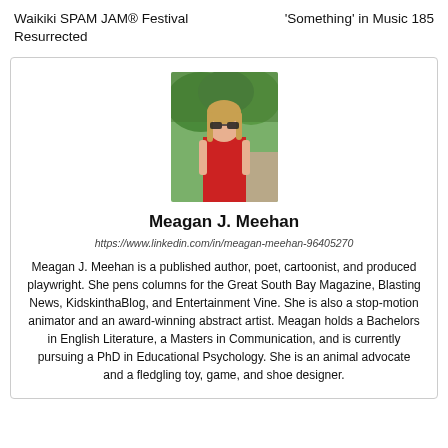Waikiki SPAM JAM® Festival Resurrected
'Something' in Music 185
[Figure (photo): Portrait photo of Meagan J. Meehan, a woman with long blonde hair and sunglasses wearing a red top, outdoors with green trees in background]
Meagan J. Meehan
https://www.linkedin.com/in/meagan-meehan-96405270
Meagan J. Meehan is a published author, poet, cartoonist, and produced playwright. She pens columns for the Great South Bay Magazine, Blasting News, KidskinthaBlog, and Entertainment Vine. She is also a stop-motion animator and an award-winning abstract artist. Meagan holds a Bachelors in English Literature, a Masters in Communication, and is currently pursuing a PhD in Educational Psychology. She is an animal advocate and a fledgling toy, game, and shoe designer.